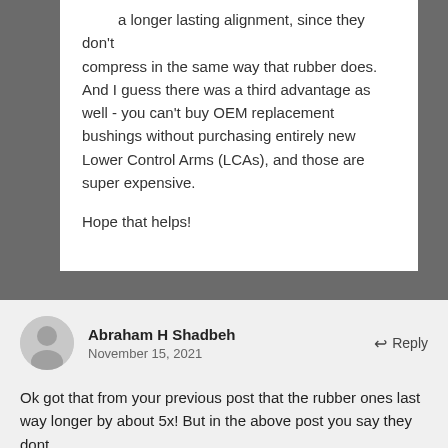a longer lasting alignment, since they don't compress in the same way that rubber does. And I guess there was a third advantage as well - you can't buy OEM replacement bushings without purchasing entirely new Lower Control Arms (LCAs), and those are super expensive.

Hope that helps!
Abraham H Shadbeh
November 15, 2021
Ok got that from your previous post that the rubber ones last way longer by about 5x! But in the above post you say they dont.
I suggest that we all of from rubber bushings...